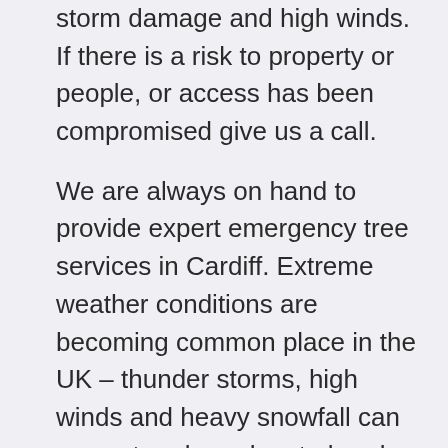storm damage and high winds. If there is a risk to property or people, or access has been compromised give us a call.
We are always on hand to provide expert emergency tree services in Cardiff. Extreme weather conditions are becoming common place in the UK – thunder storms, high winds and heavy snowfall can cause tree branches to break off and is responsible for causing trees to topple over, often causing extensive damage.
For this reason, dying trees that cannot be saved or dead trees in close proximity to residential properties should be removed before severe